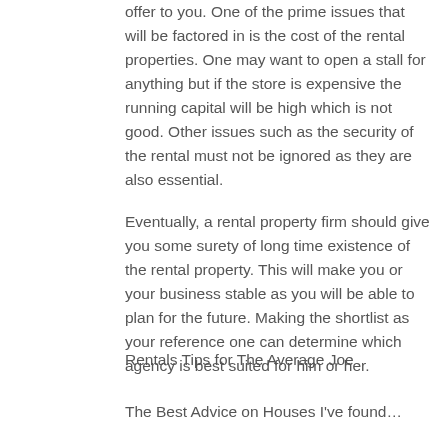offer to you. One of the prime issues that will be factored in is the cost of the rental properties. One may want to open a stall for anything but if the store is expensive the running capital will be high which is not good. Other issues such as the security of the rental must not be ignored as they are also essential.
Eventually, a rental property firm should give you some surety of long time existence of the rental property. This will make you or your business stable as you will be able to plan for the future. Making the shortlist as your reference one can determine which agency is best suited for him or her.
Rentals Tips for The Average Joe
The Best Advice on Houses I've found…